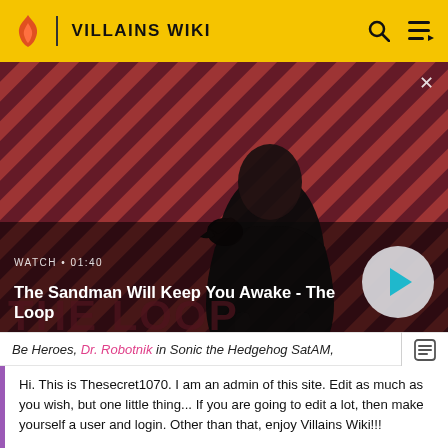VILLAINS WIKI
[Figure (screenshot): Video banner showing a dark figure with a raven on their shoulder against a red and black striped background. The Loop TV show promotional image. Text overlay: WATCH • 01:40, The Sandman Will Keep You Awake - The Loop, with a play button.]
Be Heroes, Dr. Robotnik in Sonic the Hedgehog SatAM,
Hi. This is Thesecret1070. I am an admin of this site. Edit as much as you wish, but one little thing... If you are going to edit a lot, then make yourself a user and login. Other than that, enjoy Villains Wiki!!!